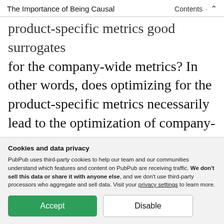The Importance of Being Causal   Contents  ∧
product-specific metrics good surrogates for the company-wide metrics? In other words, does optimizing for the product-specific metrics necessarily lead to the optimization of company-wide metrics? To answer this question, we use causal inference methods to understand how changes in a product-specific metric
Cookies and data privacy
PubPub uses third-party cookies to help our team and our communities understand which features and content on PubPub are receiving traffic. We don't sell this data or share it with anyone else, and we don't use third-party processors who aggregate and sell data. Visit your privacy settings to learn more.